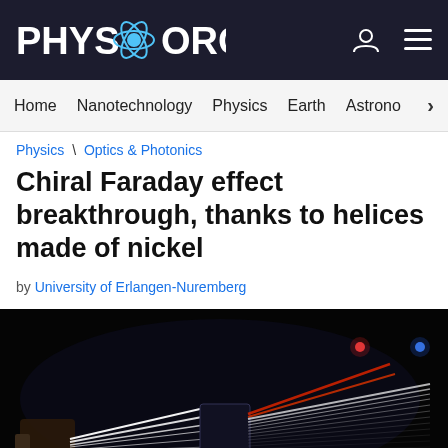PHYS.ORG
Home | Nanotechnology | Physics | Earth | Astronomy >
Physics \ Optics & Photonics
Chiral Faraday effect breakthrough, thanks to helices made of nickel
by University of Erlangen-Nuremberg
[Figure (photo): Dark image showing colorful laser beams of light — white, red, green, blue — refracting and spreading across a dark background, likely representing optical dispersion or the Faraday effect experiment.]